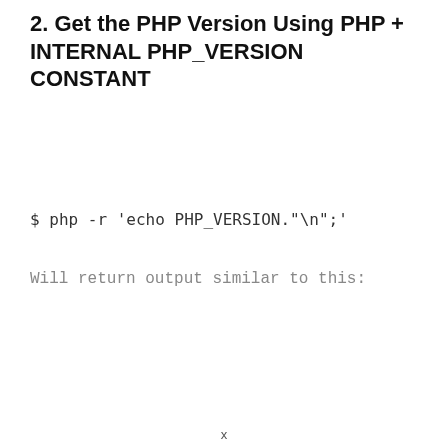2. Get the PHP Version Using PHP + INTERNAL PHP_VERSION CONSTANT
$ php -r 'echo PHP_VERSION."\n";'
Will return output similar to this:
x